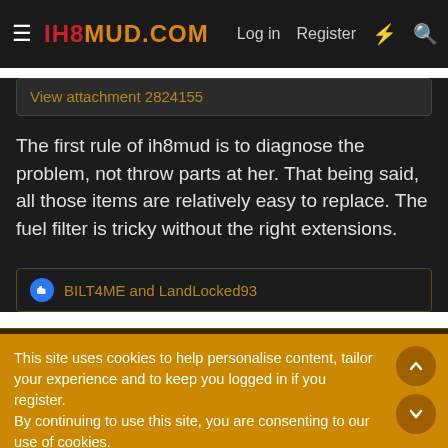ih8mud.com — Log in | Register
View attachment 2824155
The first rule of ih8mud is to diagnose the problem, not throw parts at her. That being said, all those items are relatively easy to replace. The fuel filter is tricky without the right extensions.
BILT4ME and LandLocked93
This site uses cookies to help personalise content, tailor your experience and to keep you logged in if you register.
By continuing to use this site, you are consenting to our use of cookies.
Accept
Learn more...